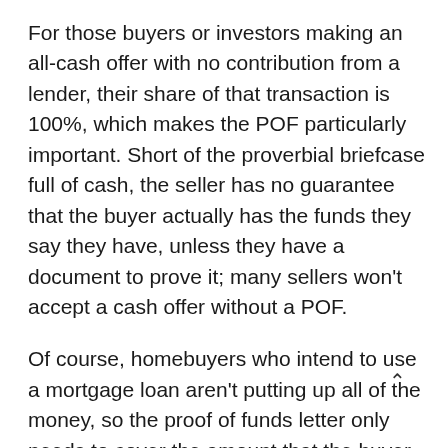For those buyers or investors making an all-cash offer with no contribution from a lender, their share of that transaction is 100%, which makes the POF particularly important. Short of the proverbial briefcase full of cash, the seller has no guarantee that the buyer actually has the funds they say they have, unless they have a document to prove it; many sellers won't accept a cash offer without a POF.
Of course, homebuyers who intend to use a mortgage loan aren't putting up all of the money, so the proof of funds letter only needs to cover the amount that the buyer is personally contributing: typically the down payment (ideally 20% of the home price) and the closing costs (usually 3%-4%).
Most sellers won't take the home off the market before